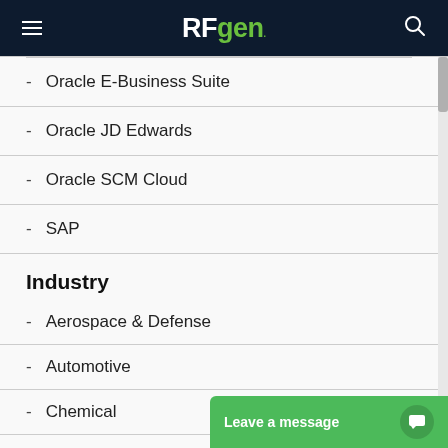RFgen
Oracle E-Business Suite
Oracle JD Edwards
Oracle SCM Cloud
SAP
Industry
Aerospace & Defense
Automotive
Chemical
Construction &
Consumer Goo